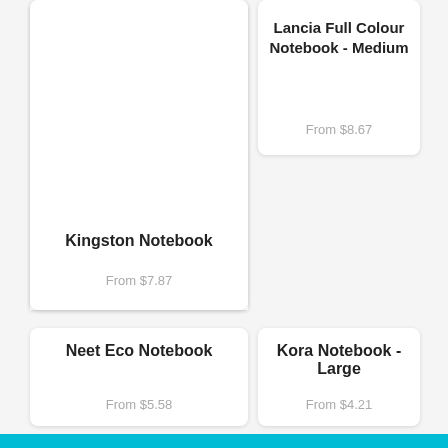[Figure (photo): Kingston Notebook product photo showing multiple colorful notebooks in red, green, blue, black, and teal colors stacked together]
Kingston Notebook
From $7.87
Lancia Full Colour Notebook - Medium
From $8.67
Neet Eco Notebook
From $5.58
Kora Notebook - Large
From $4.21